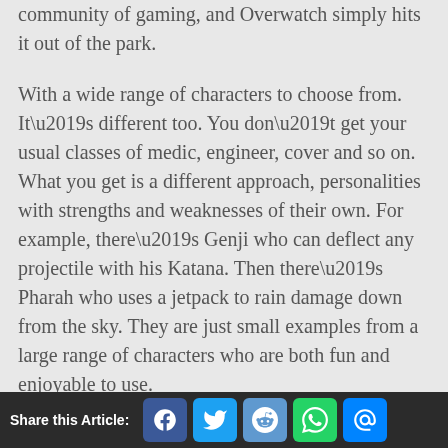community of gaming, and Overwatch simply hits it out of the park.
With a wide range of characters to choose from. It’s different too. You don’t get your usual classes of medic, engineer, cover and so on. What you get is a different approach, personalities with strengths and weaknesses of their own. For example, there’s Genji who can deflect any projectile with his Katana. Then there’s Pharah who uses a jetpack to rain damage down from the sky. They are just small examples from a large range of characters who are both fun and enjoyable to use.
Share this Article: